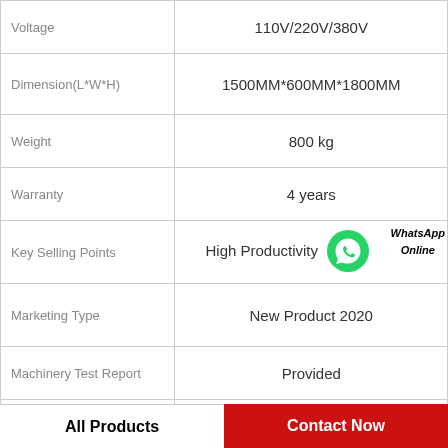|  |  |
| --- | --- |
| Voltage | 110V/220V/380V |
| Dimension(L*W*H) | 1500MM*600MM*1800MM |
| Weight | 800 kg |
| Warranty | 4 years |
| Key Selling Points | High Productivity |
| Marketing Type | New Product 2020 |
| Machinery Test Report | Provided |
| Video outgoing-inspection | Provided |
All Products
Contact Now